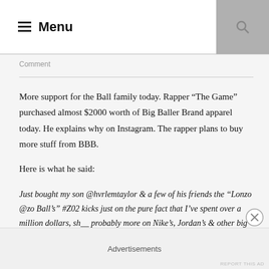Menu
Comment
More support for the Ball family today. Rapper “The Game” purchased almost $2000 worth of Big Baller Brand apparel today. He explains why on Instagram. The rapper plans to buy more stuff from BBB.
Here is what he said:
Just bought my son @hvrlemtaylor & a few of his friends the “Lonzo @zo Ball’s” #Z02 kicks just on the pure fact that I’ve spent over a million dollars, sh__ probably more on Nike’s, Jordan’s & other big name sneaker brands in my lifetime
Advertisements